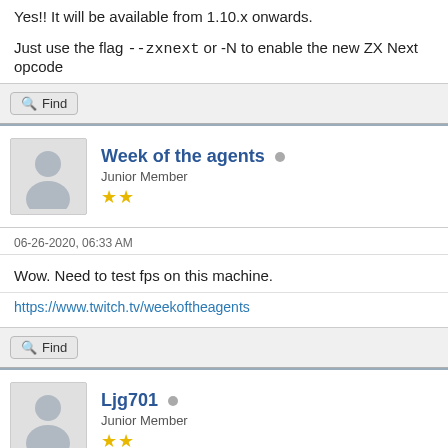Yes!! It will be available from 1.10.x onwards.
Just use the flag --zxnext or -N to enable the new ZX Next opcode
Find
Week of the agents
Junior Member
06-26-2020, 06:33 AM
Wow. Need to test fps on this machine.
https://www.twitch.tv/weekoftheagents
Find
Ljg701
Junior Member